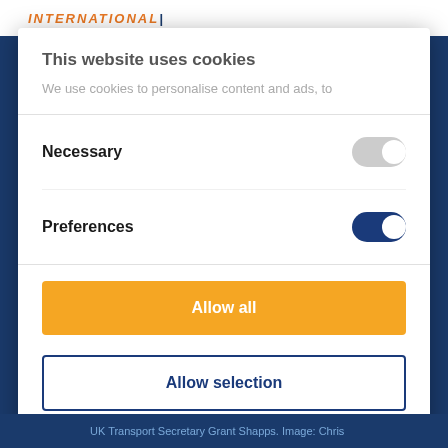INTERNATIONAL
This website uses cookies
We use cookies to personalise content and ads, to
Necessary
Preferences
Allow all
Allow selection
Powered by Cookiebot by Usercentrics
UK Transport Secretary Grant Shapps. Image: Chris